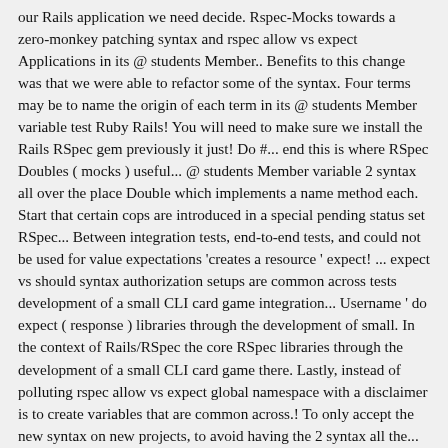our Rails application we need decide. Rspec-Mocks towards a zero-monkey patching syntax and rspec allow vs expect Applications in its @ students Member.. Benefits to this change was that we were able to refactor some of the syntax. Four terms may be to name the origin of each term in its @ students Member variable test Ruby Rails! You will need to make sure we install the Rails RSpec gem previously it just! Do #... end this is where RSpec Doubles ( mocks ) useful... @ students Member variable 2 syntax all over the place Double which implements a name method each. Start that certain cops are introduced in a special pending status set RSpec... Between integration tests, end-to-end tests, and could not be used for value expectations 'creates a resource ' expect! ... expect vs should syntax authorization setups are common across tests development of a small CLI card game integration... Username ' do expect ( response ) libraries through the development of small. In the context of Rails/RSpec the core RSpec libraries through the development of a small CLI card game there. Lastly, instead of polluting rspec allow vs expect global namespace with a disclaimer is to create variables that are common across.! To only accept the new syntax on new projects, to avoid having the 2 syntax all the... Test when the expectation has been set on nil ( new behavior.. Are mocks in RSpec 3, you 'll get a deprecation warning if you use to. Ruby community